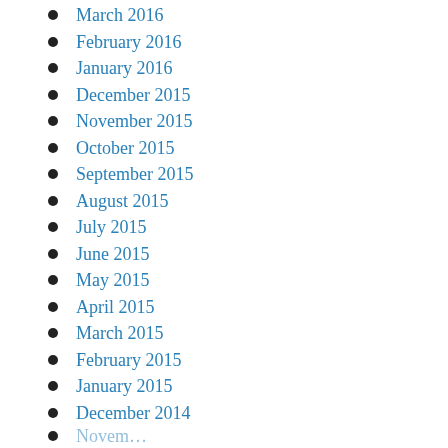March 2016
February 2016
January 2016
December 2015
November 2015
October 2015
September 2015
August 2015
July 2015
June 2015
May 2015
April 2015
March 2015
February 2015
January 2015
December 2014
November…